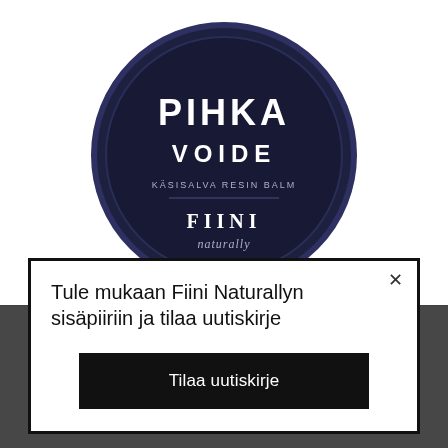[Figure (photo): A round dark navy/black tin of Fiini Naturally Pihka Voide (Resin Balm) product, seen from above at slight angle. The tin lid shows 'PIHKA VOIDE' in large white text, 'KÄSISALVA RESIN BALM' in smaller text, and 'FIINI naturally' brand logo at bottom.]
Tule mukaan Fiini Naturallyn sisäpiiriin ja tilaa uutiskirje
Tilaa uutiskirje